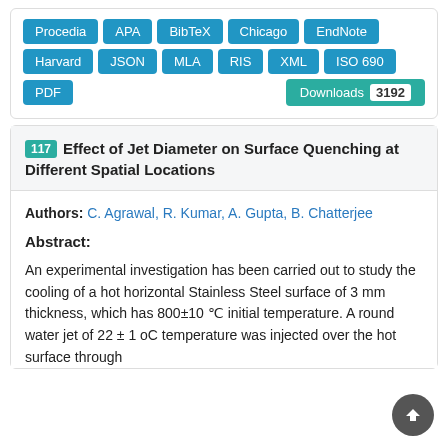Procedia, APA, BibTeX, Chicago, EndNote, Harvard, JSON, MLA, RIS, XML, ISO 690, PDF, Downloads 3192
117 Effect of Jet Diameter on Surface Quenching at Different Spatial Locations
Authors: C. Agrawal, R. Kumar, A. Gupta, B. Chatterjee
Abstract:
An experimental investigation has been carried out to study the cooling of a hot horizontal Stainless Steel surface of 3 mm thickness, which has 800±10 ℃ initial temperature. A round water jet of 22 ± 1 oC temperature was injected over the hot surface through